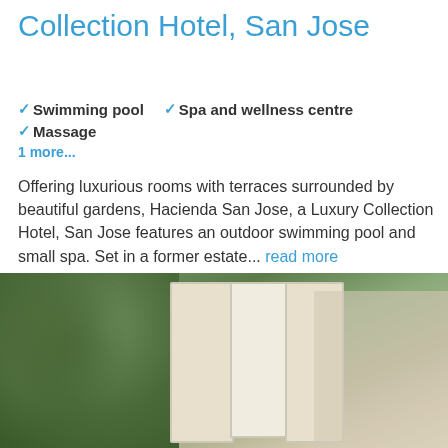Collection Hotel, San Jose
✓ Swimming pool  ✓ Spa and wellness centre  ✓ Massage
1 more...
Offering luxurious rooms with terraces surrounded by beautiful gardens, Hacienda San Jose, a Luxury Collection Hotel, San Jose features an outdoor swimming pool and small spa. Set in a former estate... read more
Rating  8.8    Prices from  $314
Read more  |  Available rooms
[Figure (photo): Hotel entrance with a white gate/pillar structure surrounded by trees and garden]